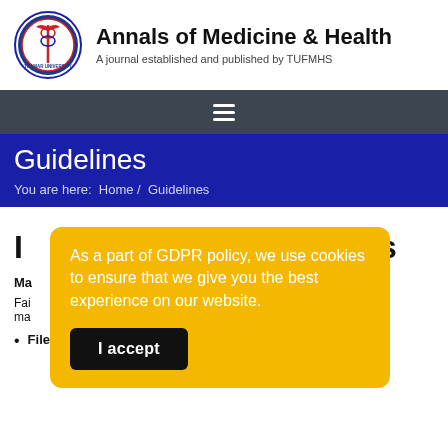[Figure (logo): Annals of Medicine & Health Sciences circular logo with medical caduceus symbol]
Annals of Medicine & Health
A journal established and published by TUFMHS
[Figure (other): Navigation hamburger menu icon (three horizontal lines) on dark gray background]
Guidelines
You are here:  Home /  Guidelines
As a part of GDPR policy, we use cookies to ensure that we give you the best experience on our website.
I accept
Ma
Failure to follow these guidelines may result in rejection. ma
File format: